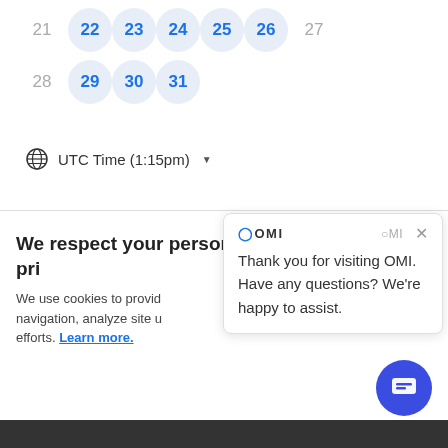[Figure (screenshot): Calendar date picker showing two rows of dates. Top row: 21 (gray), 22 (blue circle), 23 (blue circle), 24 (blue circle), 25 (blue circle), 26 (blue circle), 27 (gray). Bottom row: 28 (gray), 29 (blue circle), 30 (blue circle), 31 (blue circle).]
UTC Time (1:15pm) ▾
We respect your personal privacy
We use cookies to provide navigation, analyze site u... efforts. Learn more.
[Figure (screenshot): OMI chat popup overlay with close X button, OMI logo, and message: Thank you for visiting OMI. Have any questions? We're happy to assist.]
[Figure (other): Blue circular chat button with chat icon at bottom right]